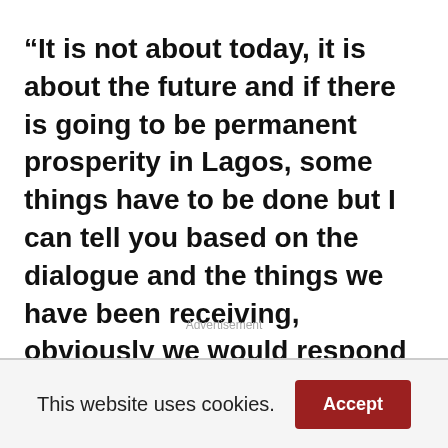“It is not about today, it is about the future and if there is going to be permanent prosperity in Lagos, some things have to be done but I can tell you based on the dialogue and the things we have been receiving, obviously we would respond positively to those yearnings.”
Advertisement
This website uses cookies.
Accept